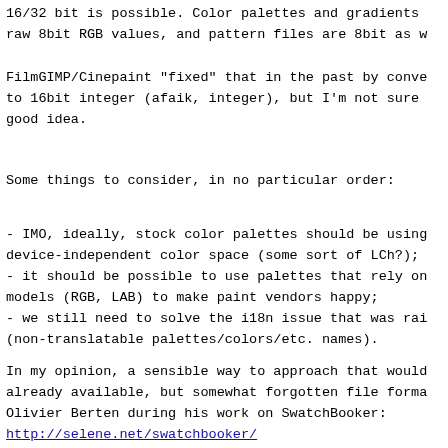16/32 bit is possible. Color palettes and gradients use raw 8bit RGB values, and pattern files are 8bit as w
FilmGIMP/Cinepaint "fixed" that in the past by converting to 16bit integer (afaik, integer), but I'm not sure good idea.
Some things to consider, in no particular order:
- IMO, ideally, stock color palettes should be using device-independent color space (some sort of LCh?);
- it should be possible to use palettes that rely on models (RGB, LAB) to make paint vendors happy;
- we still need to solve the i18n issue that was raised (non-translatable palettes/colors/etc. names).
In my opinion, a sensible way to approach that would be already available, but somewhat forgotten file format by Olivier Berten during his work on SwatchBooker:
http://selene.net/swatchbooker/